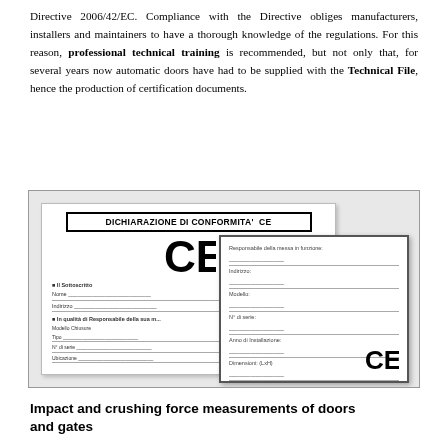Directive 2006/42/EC. Compliance with the Directive obliges manufacturers, installers and maintainers to have a thorough knowledge of the regulations. For this reason, professional technical training is recommended, but not only that, for several years now automatic doors have had to be supplied with the Technical File, hence the production of certification documents.
[Figure (illustration): Image of two overlapping certification document forms: a 'DICHIARAZIONE DI CONFORMITA' CE' (CE Declaration of Conformity) form with the CE mark logo, and a second overlapping form with fields for Responsabile della messa in funzione, Indirizzo, Modello, N di serie, Anno di Installazione, Dimensioni, and a CE mark.]
Impact and crushing force measurements of doors and gates